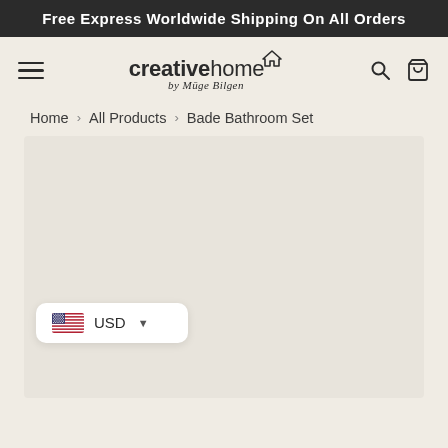Free Express Worldwide Shipping On All Orders
[Figure (logo): Creative Home by Müge Bilgen logo with navigation hamburger menu, search icon, and shopping bag icon]
Home > All Products > Bade Bathroom Set
[Figure (photo): Product image area showing Bade Bathroom Set - large light beige/gray empty product display area]
USD